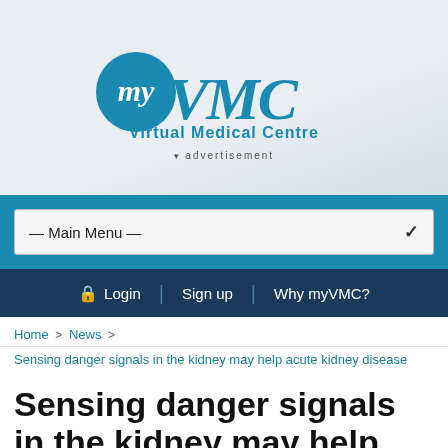[Figure (logo): myVMC Virtual Medical Centre logo with teal circle containing 'my' script and 'VMC' in teal cursive font, with 'Virtual Medical Centre' text below]
▾ advertisement
— Main Menu —
🔒 Login  |  Sign up  |  Why myVMC?
Home > News >
Sensing danger signals in the kidney may help acute kidney disease
Sensing danger signals in the kidney may help acute kidney disease